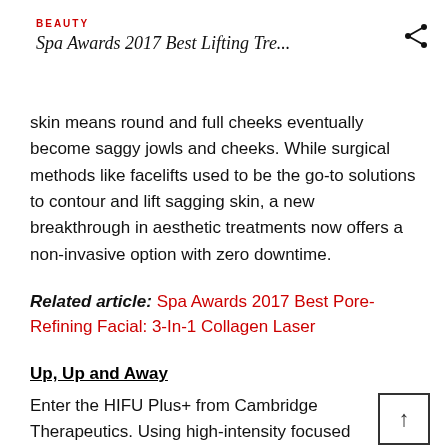BEAUTY
Spa Awards 2017 Best Lifting Tre...
skin means round and full cheeks eventually become saggy jowls and cheeks. While surgical methods like facelifts used to be the go-to solutions to contour and lift sagging skin, a new breakthrough in aesthetic treatments now offers a non-invasive option with zero downtime.
Related article: Spa Awards 2017 Best Pore-Refining Facial: 3-In-1 Collagen Laser
Up, Up and Away
Enter the HIFU Plus+ from Cambridge Therapeutics. Using high-intensity focused ultrasound, this non-surgical treatment delivers